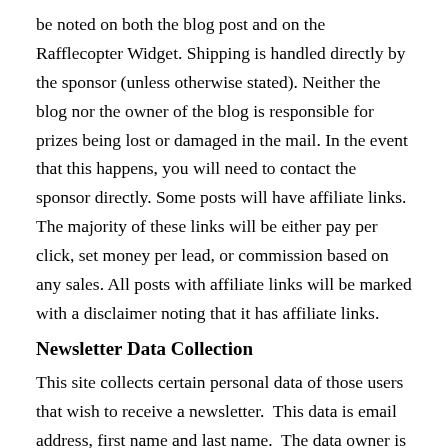be noted on both the blog post and on the Rafflecopter Widget. Shipping is handled directly by the sponsor (unless otherwise stated). Neither the blog nor the owner of the blog is responsible for prizes being lost or damaged in the mail. In the event that this happens, you will need to contact the sponsor directly. Some posts will have affiliate links. The majority of these links will be either pay per click, set money per lead, or commission based on any sales. All posts with affiliate links will be marked with a disclaimer noting that it has affiliate links.
Newsletter Data Collection
This site collects certain personal data of those users that wish to receive a newsletter.  This data is email address, first name and last name.  The data owner is